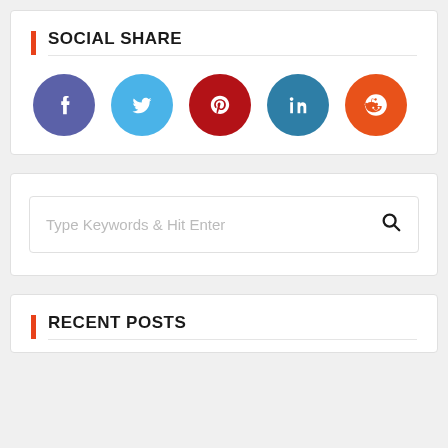SOCIAL SHARE
[Figure (infographic): Social share buttons: Facebook (purple), Twitter (light blue), Pinterest (dark red), LinkedIn (teal blue), Reddit (orange)]
[Figure (screenshot): Search box with placeholder text 'Type Keywords & Hit Enter' and a search icon]
RECENT POSTS